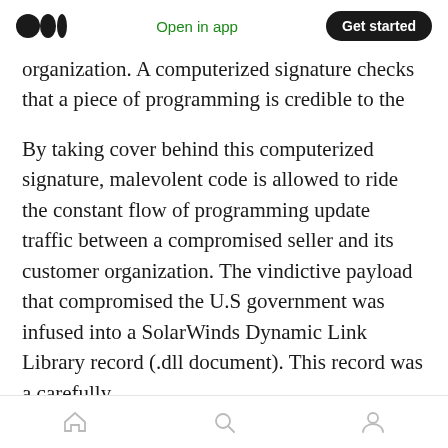Medium logo | Open in app | Get started
organization. A computerized signature checks that a piece of programming is credible to the maker, which allows the transmission of the product to all organized gatherings.
By taking cover behind this computerized signature, malevolent code is allowed to ride the constant flow of programming update traffic between a compromised seller and its customer organization. The vindictive payload that compromised the U.S government was infused into a SolarWinds Dynamic Link Library record (.dll document). This record was a carefully
Home | Search | Profile